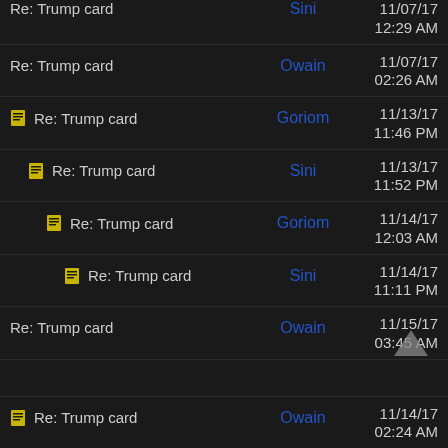Re: Trump card   Sini   11/07/17 12:29 AM
Re: Trump card   Owain   11/07/17 02:26 AM
[icon] Re: Trump card   Goriom   11/13/17 11:46 PM
[icon] Re: Trump card   Sini   11/13/17 11:52 PM
[icon] Re: Trump card   Goriom   11/14/17 12:03 AM
[icon] Re: Trump card   Sini   11/14/17 11:11 PM
Re: Trump card   Owain   11/15/17 03:45 AM
[icon] Re: Trump card   Owain   11/14/17 02:24 AM